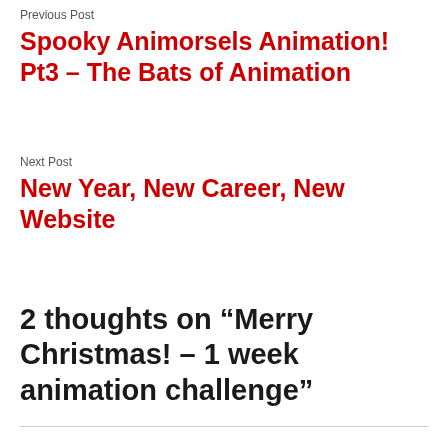Previous Post
Spooky Animorsels Animation! Pt3 – The Bats of Animation
Next Post
New Year, New Career, New Website
2 thoughts on “Merry Christmas! – 1 week animation challenge”